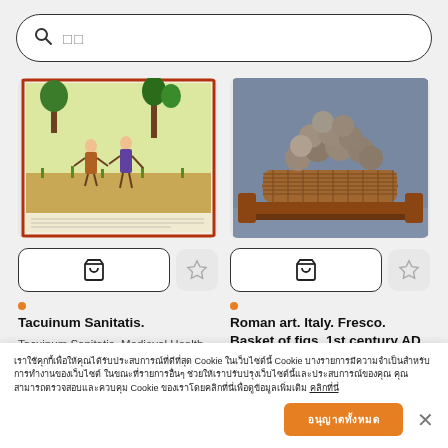[Figure (screenshot): Search bar with magnifying glass icon and placeholder text in Korean characters]
[Figure (photo): Medieval health handbook illustration (Tacuinum Sanitatis) showing figures in a field with trees, dated before 1400]
[Figure (photo): Roman fresco showing a basket of figs, 1st century AD, Oplontis, Campania]
Tacuinum Sanitatis.
Tacuinum Sanitatis. Medieval Health Handbook, dated before 1400
Roman art. Italy. Fresco. Basket of figs. 1st century AD. Oplontis. Campania....
ใช้คุกกี้เพื่อให้คุณได้รับประสบการณ์ที่ดีที่สุดบนเว็บไซต์ของเรา คลิกที่นี่เพื่อดูข้อมูลเพิ่มเติม